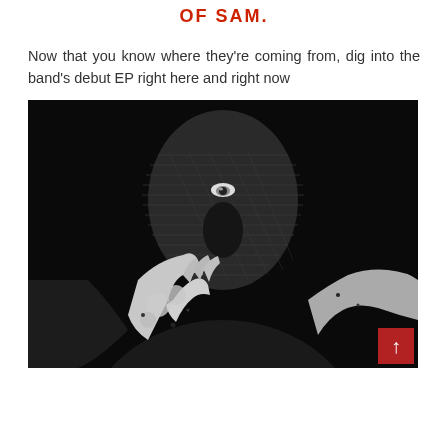OF SAM.
Now that you know where they're coming from, dig into the band's debut EP right here and right now
[Figure (photo): Black and white high-contrast photograph of a person wearing a knit ski mask, holding their hands up toward the camera in a dark, dramatic composition.]